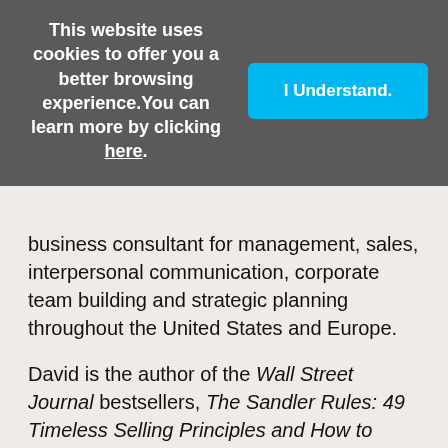This website uses cookies to offer you a better browsing experience. You can learn more by clicking here.
I Understand.
business consultant for management, sales, interpersonal communication, corporate team building and strategic planning throughout the United States and Europe.
David is the author of the Wall Street Journal bestsellers, The Sandler Rules: 49 Timeless Selling Principles and How to Apply Them and Sandler Success Principles: 11 Insights that will change the way you think and sell. He regularly authors articles for business